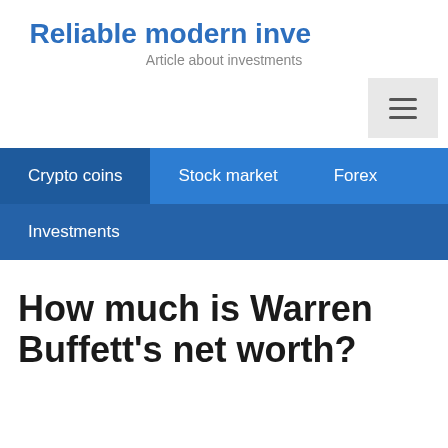Reliable modern inve...
Article about investments
[Figure (other): Hamburger menu button icon (three horizontal lines)]
Crypto coins   Stock market   Forex
Investments
How much is Warren Buffett's net worth?